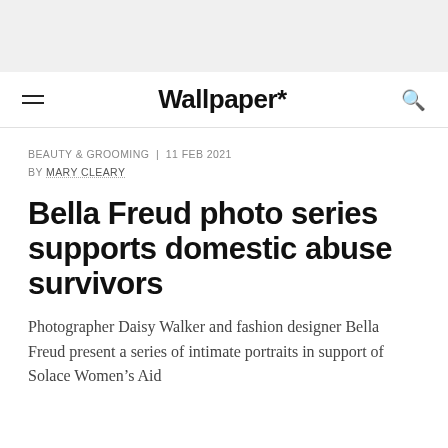Wallpaper*
BEAUTY & GROOMING  |  11 FEB 2021
BY MARY CLEARY
Bella Freud photo series supports domestic abuse survivors
Photographer Daisy Walker and fashion designer Bella Freud present a series of intimate portraits in support of Solace Women's Aid